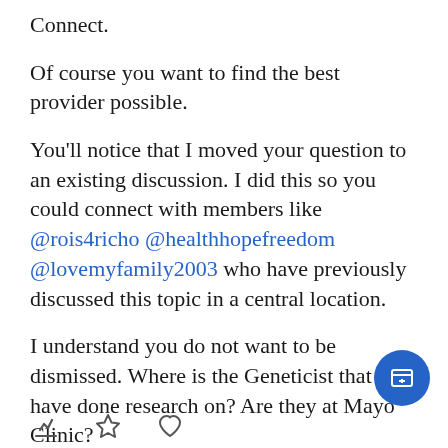Connect.
Of course you want to find the best provider possible.
You'll notice that I moved your question to an existing discussion. I did this so you could connect with members like @rois4richo @healthhopefreedom @lovemyfamily2003 who have previously discussed this topic in a central location.
I understand you do not want to be dismissed. Where is the Geneticist that you have done research on? Are they at Mayo Clinic?